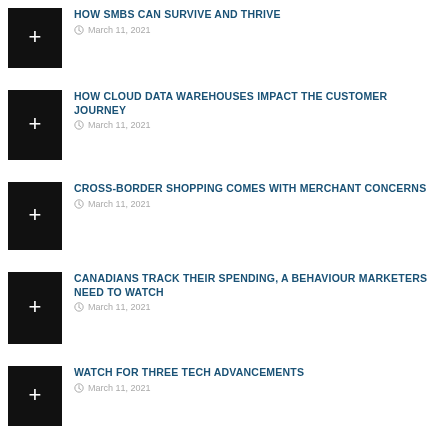HOW SMBS CAN SURVIVE AND THRIVE — March 11, 2021
HOW CLOUD DATA WAREHOUSES IMPACT THE CUSTOMER JOURNEY — March 11, 2021
CROSS-BORDER SHOPPING COMES WITH MERCHANT CONCERNS — March 11, 2021
CANADIANS TRACK THEIR SPENDING, A BEHAVIOUR MARKETERS NEED TO WATCH — March 11, 2021
WATCH FOR THREE TECH ADVANCEMENTS — March 11, 2021